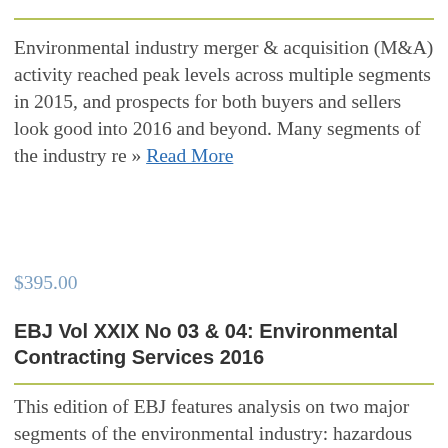Environmental industry merger & acquisition (M&A) activity reached peak levels across multiple segments in 2015, and prospects for both buyers and sellers look good into 2016 and beyond. Many segments of the industry re » Read More
$395.00
EBJ Vol XXIX No 03 & 04: Environmental Contracting Services 2016
This edition of EBJ features analysis on two major segments of the environmental industry: hazardous waste management and remediation/industrial services that together comprise environmental